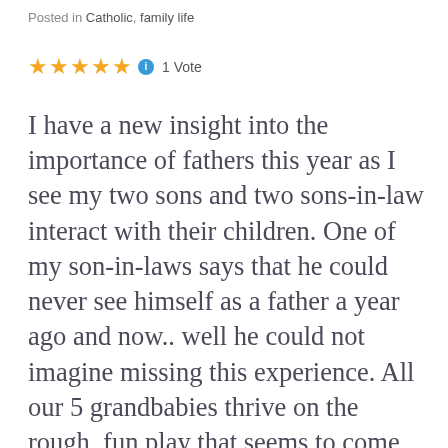Posted in Catholic, family life
★★★★★ ℹ 1 Vote
I have a new insight into the importance of fathers this year as I see my two sons and two sons-in-law interact with their children. One of my son-in-laws says that he could never see himself as a father a year ago and now.. well he could not imagine missing this experience. All our 5 grandbabies thrive on the rough, fun play that seems to come more naturally to fathers than mothers. My daughters